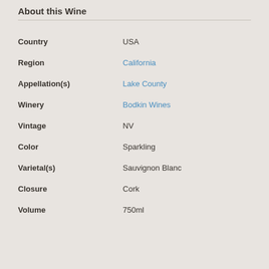About this Wine
| Field | Value |
| --- | --- |
| Country | USA |
| Region | California |
| Appellation(s) | Lake County |
| Winery | Bodkin Wines |
| Vintage | NV |
| Color | Sparkling |
| Varietal(s) | Sauvignon Blanc |
| Closure | Cork |
| Volume | 750ml |